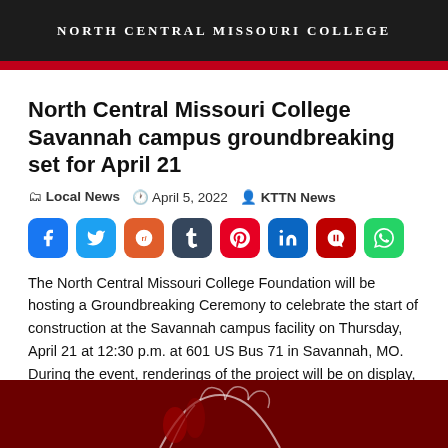[Figure (photo): North Central Missouri College header banner with dark background, red bar at bottom, and college name in white uppercase letters]
North Central Missouri College Savannah campus groundbreaking set for April 21
Local News  April 5, 2022  KTTN News
[Figure (infographic): Row of social media share buttons: Facebook, Twitter, Reddit, Tumblr, Pinterest, LinkedIn, Parler, WhatsApp]
The North Central Missouri College Foundation will be hosting a Groundbreaking Ceremony to celebrate the start of construction at the Savannah campus facility on Thursday, April 21 at 12:30 p.m. at 601 US Bus 71 in Savannah, MO. During the event, renderings of the project will be on display, and remarks will be made about [...]
[Figure (photo): Dark red image at bottom of page showing a hand outline illustration]